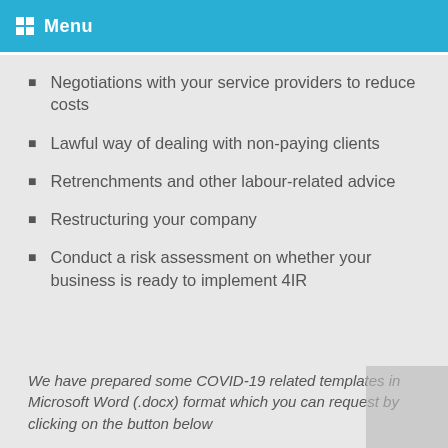Menu
Negotiations with your service providers to reduce costs
Lawful way of dealing with non-paying clients
Retrenchments and other labour-related advice
Restructuring your company
Conduct a risk assessment on whether your business is ready to implement 4IR
We have prepared some COVID-19 related templates in Microsoft Word (.docx) format which you can request by clicking on the button below